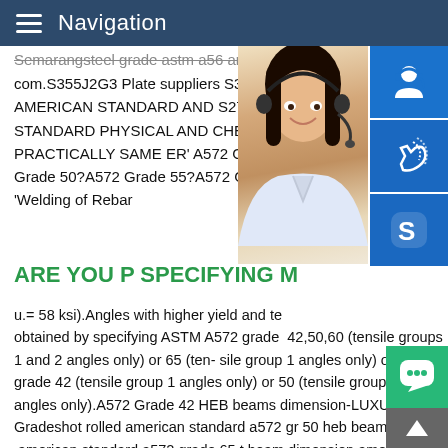Navigation
Semarangsteel grade astm a56 and s275j com.S355J2G3 Plate suppliers S355J2G3 AMERICAN STANDARD AND S275JR IS STANDARD PHYSICAL AND CHEMICAL PRACTICALLY SAME ER' A572 Grade 42 Grade 50?A572 Grade 55?A572 Grade 60 'Welding of Rebar
[Figure (photo): Woman with headset (customer service representative), partially visible on right side of page]
[Figure (infographic): Three blue icon boxes on right side: customer service headset icon, phone/signal icon, Skype icon]
ARE YOU P SPECIFYING M
MANUAL SE QUOTING O
Email: bsteel1@163.com
u.= 58 ksi).Angles with higher yield and te obtained by specifying ASTM A572 grade 42,50,60 (tensile groups 1 and 2 angles only) or 65 (ten- sile group 1 angles only) or A529 grade 42 (tensile group 1 angles only) or 50 (tensile groups 1 and 2 angles only).A572 Grade 42 HEB beams dimension-LUXURY Gradeshot rolled american standard a572 gr 50 heb beams .american standard a572 grade 65 t beam dimension america
[Figure (infographic): Green chat bubble button at bottom right]
[Figure (infographic): Grey scroll-to-top arrow button at bottom right corner]